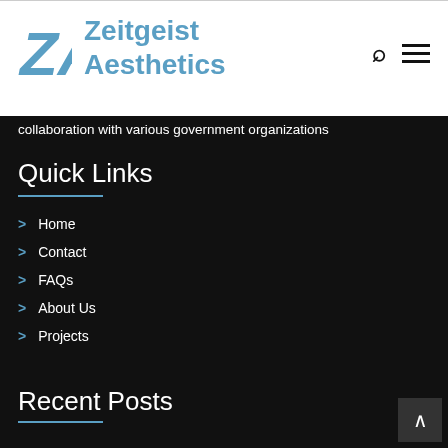Zeitgeist Aesthetics
collaboration with various government organizations
Quick Links
Home
Contact
FAQs
About Us
Projects
Recent Posts